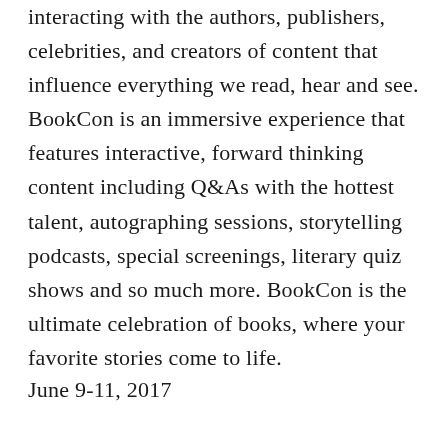interacting with the authors, publishers, celebrities, and creators of content that influence everything we read, hear and see. BookCon is an immersive experience that features interactive, forward thinking content including Q&As with the hottest talent, autographing sessions, storytelling podcasts, special screenings, literary quiz shows and so much more. BookCon is the ultimate celebration of books, where your favorite stories come to life.
June 9-11, 2017